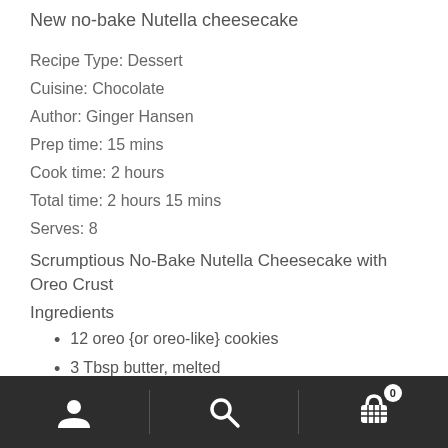New no-bake Nutella cheesecake
Recipe Type: Dessert
Cuisine: Chocolate
Author: Ginger Hansen
Prep time: 15 mins
Cook time: 2 hours
Total time: 2 hours 15 mins
Serves: 8
Scrumptious No-Bake Nutella Cheesecake with Oreo Crust
Ingredients
12 oreo {or oreo-like} cookies
3 Tbsp butter, melted
8 oz cream cheese, softened
[Figure (other): Bottom navigation bar with user icon, search icon, and cart icon with badge showing 0]